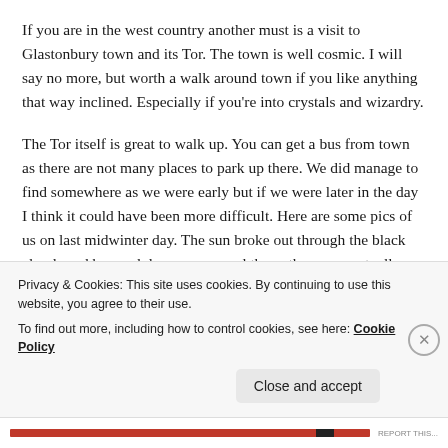If you are in the west country another must is a visit to Glastonbury town and its Tor. The town is well cosmic. I will say no more, but worth a walk around town if you like anything that way inclined. Especially if you're into crystals and wizardry.
The Tor itself is great to walk up. You can get a bus from town as there are not many places to park up there. We did manage to find somewhere as we were early but if we were later in the day I think it could have been more difficult. Here are some pics of us on last midwinter day. The sun broke out through the black clouds and beamed down on us, and then.. there was actually a rainbow! NO SHIT!
Privacy & Cookies: This site uses cookies. By continuing to use this website, you agree to their use. To find out more, including how to control cookies, see here: Cookie Policy
Close and accept